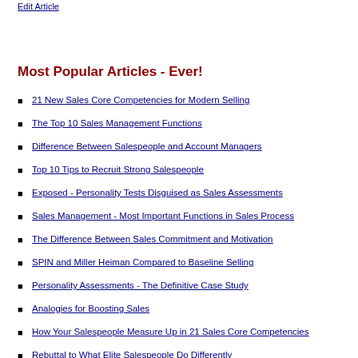Edit Article
Most Popular Articles - Ever!
21 New Sales Core Competencies for Modern Selling
The Top 10 Sales Management Functions
Difference Between Salespeople and Account Managers
Top 10 Tips to Recruit Strong Salespeople
Exposed - Personality Tests Disguised as Sales Assessments
Sales Management - Most Important Functions in Sales Process
The Difference Between Sales Commitment and Motivation
SPIN and Miller Heiman Compared to Baseline Selling
Personality Assessments - The Definitive Case Study
Analogies for Boosting Sales
How Your Salespeople Measure Up in 21 Sales Core Competencies
Rebuttal to What Elite Salespeople Do Differently